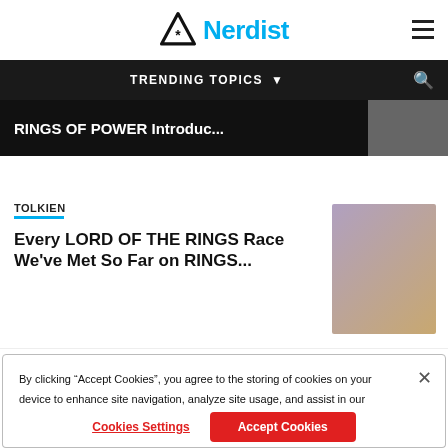Nerdist
TRENDING TOPICS ▼
RINGS OF POWER Introduc...
TOLKIEN
Every LORD OF THE RINGS Race We've Met So Far on RINGS...
By clicking "Accept Cookies", you agree to the storing of cookies on your device to enhance site navigation, analyze site usage, and assist in our marketing efforts.  Privacy Policy
Cookies Settings  Accept Cookies